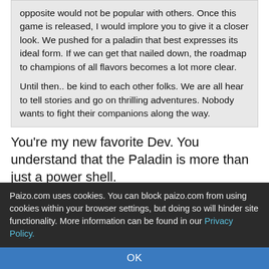opposite would not be popular with others. Once this game is released, I would implore you to give it a closer look. We pushed for a paladin that best expresses its ideal form. If we can get that nailed down, the roadmap to champions of all flavors becomes a lot more clear.

Until then.. be kind to each other folks. We are all hear to tell stories and go on thrilling adventures. Nobody wants to fight their companions along the way.
You're my new favorite Dev. You understand that the Paladin is more than just a power shell.
Diffan
May 8, 2018, 02:04 pm
[Figure (photo): Avatar image of a dark fantasy creature/monster with blue skin and fangs]
Jason Bulmahn wrote:
6 people marked this as a favorite.
Paizo.com uses cookies. You can block paizo.com from using cookies within your browser settings, but doing so will hinder site functionality. More information can be found in our Privacy Policy.
OK